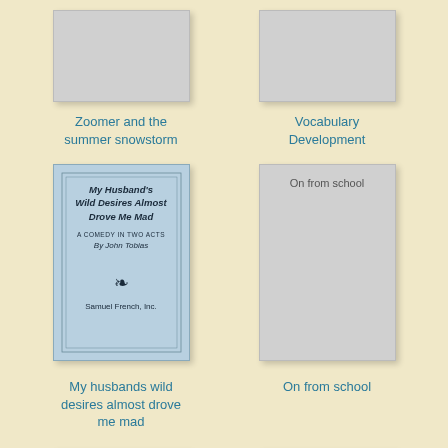[Figure (illustration): Gray placeholder book cover for 'Zoomer and the summer snowstorm']
Zoomer and the summer snowstorm
[Figure (illustration): Gray placeholder book cover for 'Vocabulary Development']
Vocabulary Development
[Figure (illustration): Blue book cover showing 'My Husband's Wild Desires Almost Drove Me Mad, A Comedy in Two Acts, By John Tobias, Samuel French, Inc.']
My husbands wild desires almost drove me mad
[Figure (illustration): Gray placeholder book cover with text 'On from school']
On from school
[Figure (illustration): Partial gray book cover with text 'Industrial programmes in Uttar Pradesh during']
[Figure (illustration): Partial gray book cover with text 'Nominations of Maria L. Johnson and John L.']